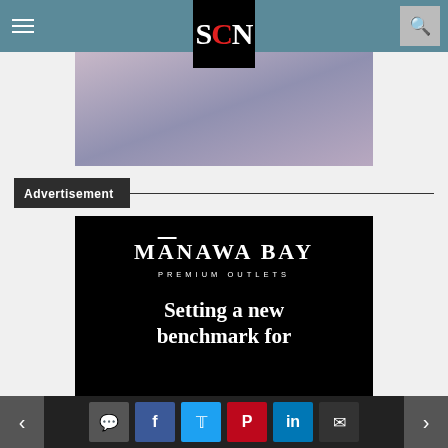SCN - Shopping Centre News navigation bar
[Figure (photo): Faded purple-grey sky/outdoor photo placeholder]
Advertisement
[Figure (illustration): Manawa Bay Premium Outlets advertisement on black background. Text reads: MANAWA BAY / PREMIUM OUTLETS / Setting a new benchmark for]
Navigation bar with back/forward arrows and social share buttons: comment, Facebook, Twitter, Pinterest, LinkedIn, email